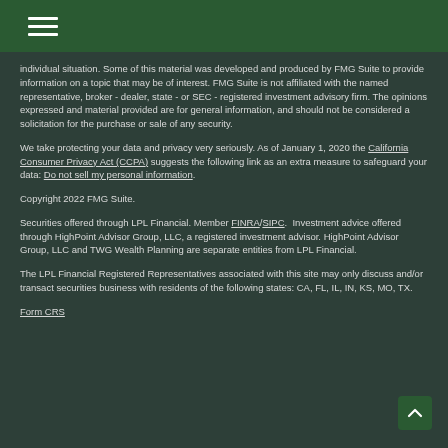Navigation menu
individual situation. Some of this material was developed and produced by FMG Suite to provide information on a topic that may be of interest. FMG Suite is not affiliated with the named representative, broker - dealer, state - or SEC - registered investment advisory firm. The opinions expressed and material provided are for general information, and should not be considered a solicitation for the purchase or sale of any security.
We take protecting your data and privacy very seriously. As of January 1, 2020 the California Consumer Privacy Act (CCPA) suggests the following link as an extra measure to safeguard your data: Do not sell my personal information.
Copyright 2022 FMG Suite.
Securities offered through LPL Financial. Member FINRA/SIPC. Investment advice offered through HighPoint Advisor Group, LLC, a registered investment advisor. HighPoint Advisor Group, LLC and TWG Wealth Planning are separate entities from LPL Financial.
The LPL Financial Registered Representatives associated with this site may only discuss and/or transact securities business with residents of the following states: CA, FL, IL, IN, KS, MO, TX.
Form CRS